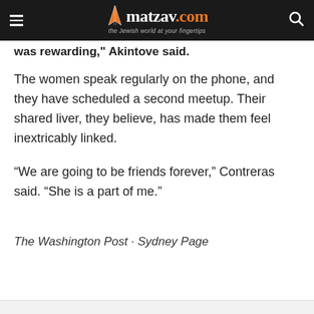matzav.com — the Jewish world at your fingertips
was rewarding, Akintove said.
The women speak regularly on the phone, and they have scheduled a second meetup. Their shared liver, they believe, has made them feel inextricably linked.
“We are going to be friends forever,” Contreras said. “She is a part of me.”
The Washington Post · Sydney Page